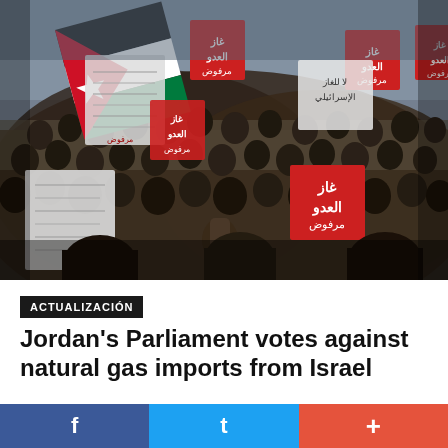[Figure (photo): Large crowd of protesters in Amman, Jordan, holding signs in Arabic and a Jordanian flag, demonstrating against natural gas imports from Israel.]
ACTUALIZACIÓN
Jordan's Parliament votes against natural gas imports from Israel
f
t
+